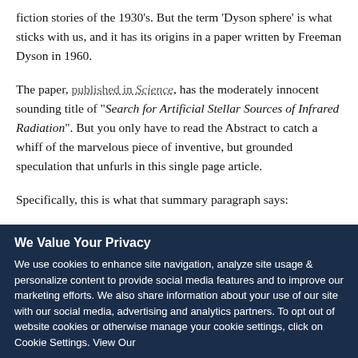fiction stories of the 1930's. But the term 'Dyson sphere' is what sticks with us, and it has its origins in a paper written by Freeman Dyson in 1960.
The paper, published in Science, has the moderately innocent sounding title of "Search for Artificial Stellar Sources of Infrared Radiation". But you only have to read the Abstract to catch a whiff of the marvelous piece of inventive, but grounded speculation that unfurls in this single page article.
Specifically, this is what that summary paragraph says:
We Value Your Privacy
We use cookies to enhance site navigation, analyze site usage & personalize content to provide social media features and to improve our marketing efforts. We also share information about your use of our site with our social media, advertising and analytics partners. To opt out of website cookies or otherwise manage your cookie settings, click on Cookie Settings. View Our